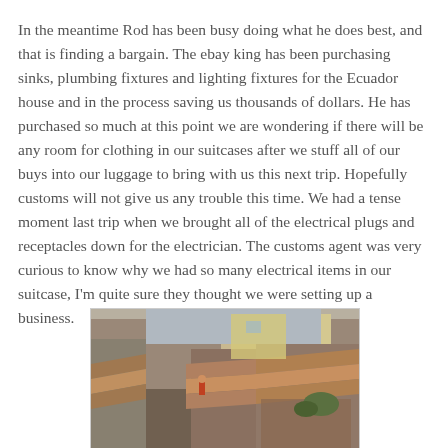In the meantime Rod has been busy doing what he does best, and that is finding a bargain. The ebay king has been purchasing sinks, plumbing fixtures and lighting fixtures for the Ecuador house and in the process saving us thousands of dollars. He has purchased so much at this point we are wondering if there will be any room for clothing in our suitcases after we stuff all of our buys into our luggage to bring with us this next trip. Hopefully customs will not give us any trouble this time. We had a tense moment last trip when we brought all of the electrical plugs and receptacles down for the electrician. The customs agent was very curious to know why we had so many electrical items in our suitcase, I'm quite sure they thought we were setting up a business.
[Figure (photo): Aerial or rooftop view of densely packed buildings with terracotta tile roofs in Ecuador, urban neighborhood scene.]